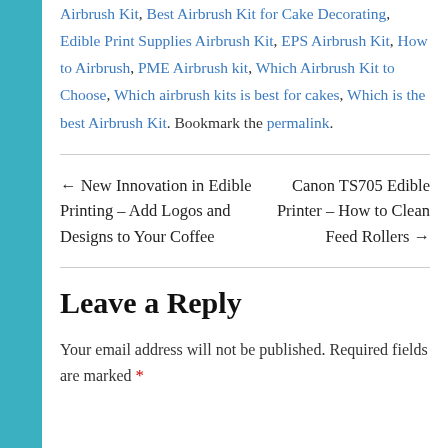Airbrush Kit, Best Airbrush Kit for Cake Decorating, Edible Print Supplies Airbrush Kit, EPS Airbrush Kit, How to Airbrush, PME Airbrush kit, Which Airbrush Kit to Choose, Which airbrush kits is best for cakes, Which is the best Airbrush Kit. Bookmark the permalink.
← New Innovation in Edible Printing – Add Logos and Designs to Your Coffee
Canon TS705 Edible Printer – How to Clean Feed Rollers →
Leave a Reply
Your email address will not be published. Required fields are marked *